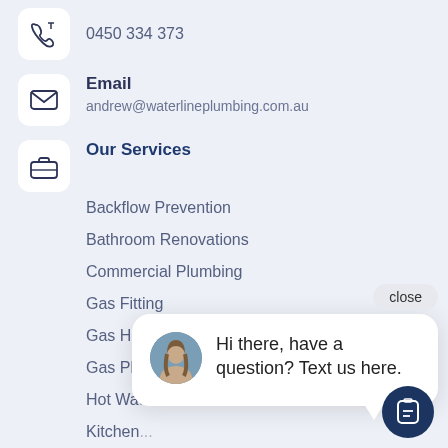0450 334 373
Email
andrew@waterlineplumbing.com.au
Our Services
Backflow Prevention
Bathroom Renovations
Commercial Plumbing
Gas Fitting
Gas Ho...
Gas Plu...
Hot Wa...
Kitchen...
Laundry Renovations
Leak Detection
Shower Repairs
Toilet Repairs...
Hi there, have a question? Text us here.